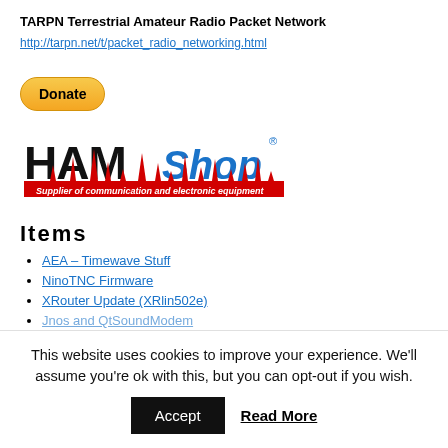TARPN Terrestrial Amateur Radio Packet Network
http://tarpn.net/t/packet_radio_networking.html
[Figure (other): Yellow PayPal Donate button]
[Figure (logo): HAMShop logo - Supplier of communication and electronic equipment]
Items
AEA – Timewave Stuff
NinoTNC Firmware
XRouter Update (XRlin502e)
Jnos and QtSoundModem (partially visible)
This website uses cookies to improve your experience. We'll assume you're ok with this, but you can opt-out if you wish.
Accept
Read More